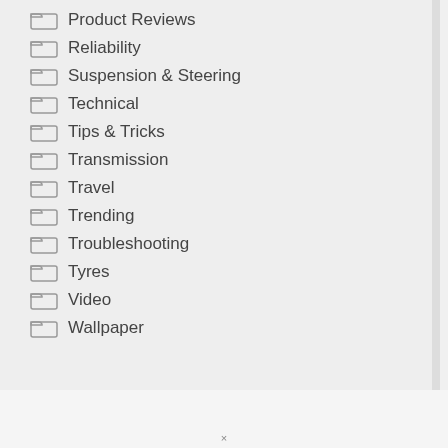Product Reviews
Reliability
Suspension & Steering
Technical
Tips & Tricks
Transmission
Travel
Trending
Troubleshooting
Tyres
Video
Wallpaper